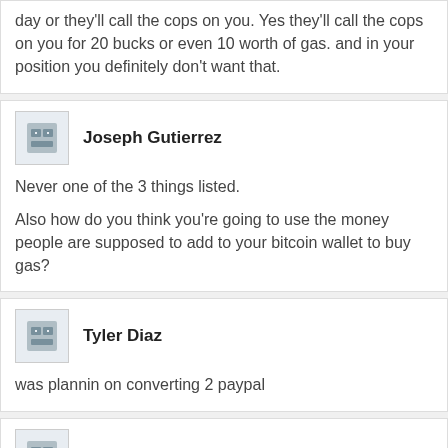day or they'll call the cops on you. Yes they'll call the cops on you for 20 bucks or even 10 worth of gas. and in your position you definitely don't want that.
Joseph Gutierrez
Never one of the 3 things listed.
Also how do you think you're going to use the money people are supposed to add to your bitcoin wallet to buy gas?
Tyler Diaz
was plannin on converting 2 paypal
Lucas Reed
So then why don't you do that with your own bitcoin in your wallet? And don't know many gas stations that take paypal either.